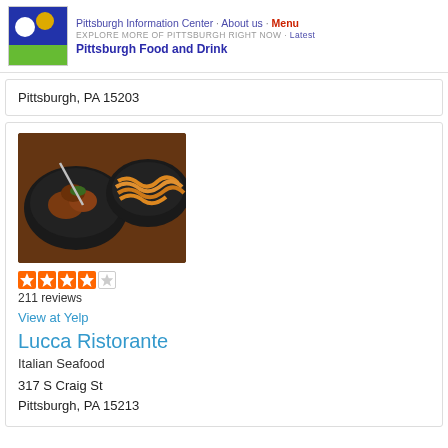Pittsburgh Information Center · About us · Menu
EXPLORE MORE OF PITTSBURGH RIGHT NOW · Latest
Pittsburgh Food and Drink
Pittsburgh, PA 15203
[Figure (photo): Photo of two black bowls of food on a wooden table — one with braised meat and one with pasta]
211 reviews
View at Yelp
Lucca Ristorante
Italian Seafood
317 S Craig St
Pittsburgh, PA 15213